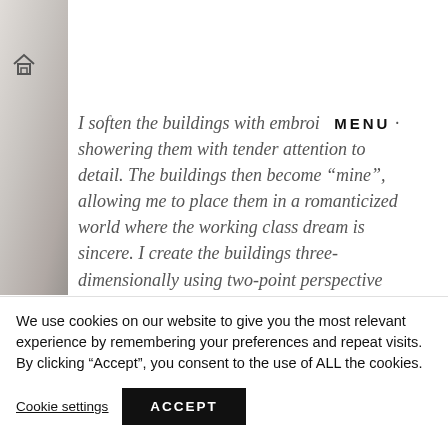[Figure (photo): Partial view of a beige/neutral-toned fabric or textile with diagonal lines, serving as a decorative left-column image background]
I soften the buildings with embroi MENU showering them with tender attention to detail. The buildings then become “mine”, allowing me to place them in a romanticized world where the working class dream is sincere. I create the buildings three-dimensionally using two-point perspective thus the building looks normal from one
We use cookies on our website to give you the most relevant experience by remembering your preferences and repeat visits. By clicking “Accept”, you consent to the use of ALL the cookies.
Cookie settings   ACCEPT